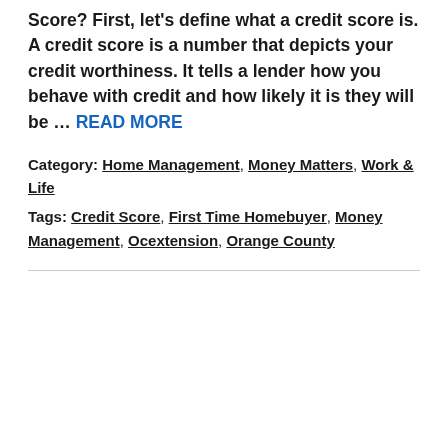Score? First, let's define what a credit score is. A credit score is a number that depicts your credit worthiness. It tells a lender how you behave with credit and how likely it is they will be … READ MORE
Category: Home Management, Money Matters, Work & Life
Tags: Credit Score, First Time Homebuyer, Money Management, Ocextension, Orange County